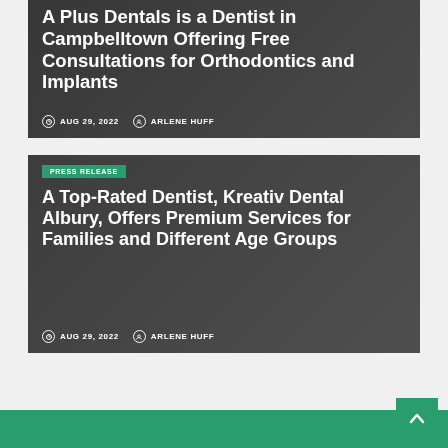[Figure (photo): Dark background image with blurred office/desk objects (keyboard, camera)]
A Plus Dentals is a Dentist in Campbelltown Offering Free Consultations for Orthodontics and Implants
AUG 29, 2022   ARLENE HUFF
[Figure (photo): Blurred newspaper/financial page background image]
PRESS RELEASE
A Top-Rated Dentist, Kreativ Dental Albury, Offers Premium Services for Families and Different Age Groups
AUG 29, 2022   ARLENE HUFF